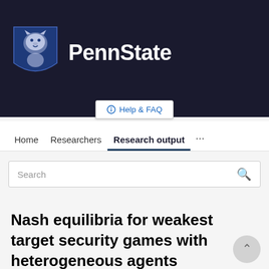[Figure (logo): Penn State University logo with lion shield icon and PennState wordmark on dark background]
Help & FAQ
Home   Researchers   Research output   ...
Search
Nash equilibria for weakest target security games with heterogeneous agents